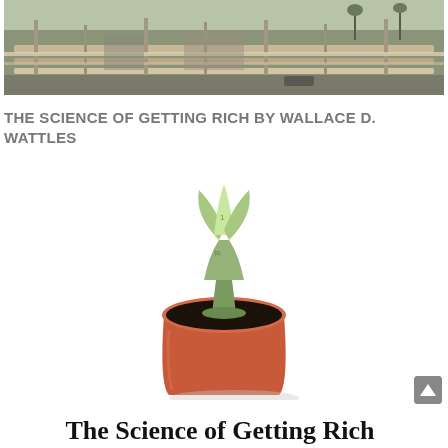[Figure (photo): Aerial/industrial photo showing pipeline infrastructure, roads and palm trees in the background]
THE SCIENCE OF GETTING RICH BY WALLACE D. WATTLES
[Figure (photo): A dollar bill folded origami-style into a flower/plant shape growing out of a terracotta pot filled with dark soil]
The Science of Getting Rich